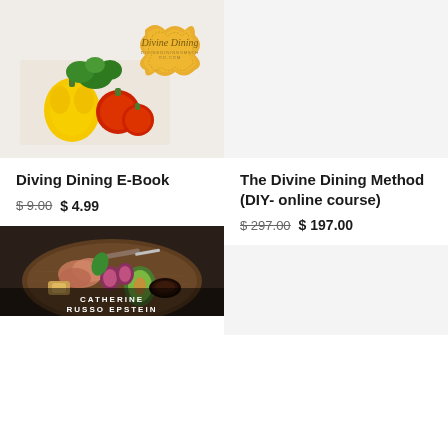[Figure (illustration): Divine Dining E-Book cover with vegetables (yellow pepper, red tomatoes, green herbs) and golden decorative badge with 'Divine Dining' script text]
Diving Dining E-Book
$ 9.00 $ 4.99
[Figure (illustration): Gray/light background placeholder for The Divine Dining Method online course]
The Divine Dining Method (DIY- online course)
$ 297.00 $ 197.00
[Figure (photo): Charcuterie board with meats, figs, avocado, bread, dipping sauce, text: CATHERINE RUSSO EPSTEIN]
[Figure (illustration): Gray/light background placeholder for second bottom product]